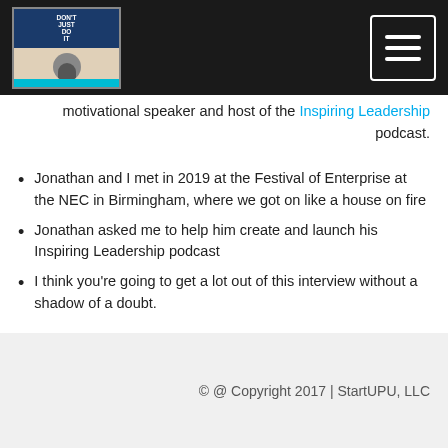[Logo: Don't Just Do It] [Hamburger menu button]
motivational speaker and host of the Inspiring Leadership podcast.
Jonathan and I met in 2019 at the Festival of Enterprise at the NEC in Birmingham, where we got on like a house on fire
Jonathan asked me to help him create and launch his Inspiring Leadership podcast
I think you're going to get a lot out of this interview without a shadow of a doubt.
Let's StartUp!
© @ Copyright 2017 | StartUPU, LLC